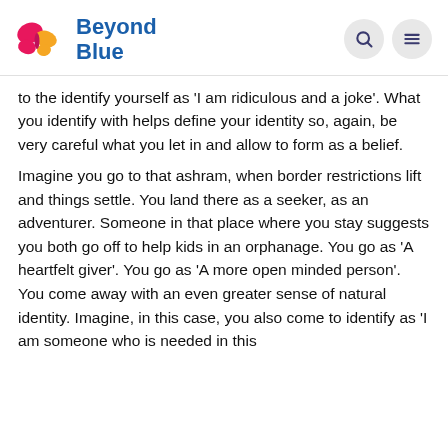Beyond Blue
to the identify yourself as 'I am ridiculous and a joke'. What you identify with helps define your identity so, again, be very careful what you let in and allow to form as a belief.
Imagine you go to that ashram, when border restrictions lift and things settle. You land there as a seeker, as an adventurer. Someone in that place where you stay suggests you both go off to help kids in an orphanage. You go as 'A heartfelt giver'. You go as 'A more open minded person'. You come away with an even greater sense of natural identity. Imagine, in this case, you also come to identify as 'I am someone who is needed in this world' and it goes on, this recognition...